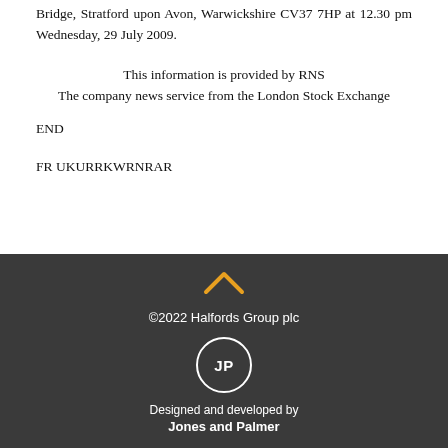Bridge, Stratford upon Avon, Warwickshire CV37 7HP at 12.30 pm Wednesday, 29 July 2009.
This information is provided by RNS
The company news service from the London Stock Exchange
END
FR UKURRKWRNRAR
©2022 Halfords Group plc
Designed and developed by Jones and Palmer